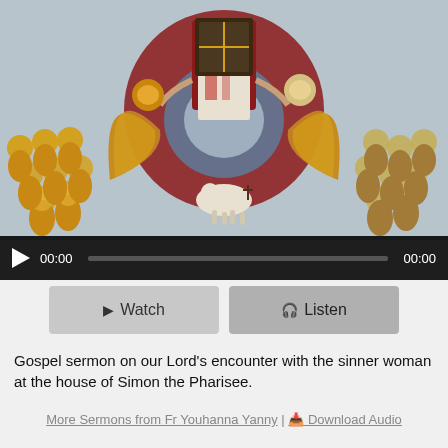[Figure (photo): Religious icon painting showing a central figure in red robes surrounded by saints with golden halos on the left and right, with a lamb bearing a cross at the bottom, set against a blue-grey background. Below the image is an audio player bar with play button, time stamps 00:00 and 00:00, and a progress bar.]
Watch
Listen
Gospel sermon on our Lord's encounter with the sinner woman at the house of Simon the Pharisee.
More Sermons from Fr Youhanna Yanny | Download Audio